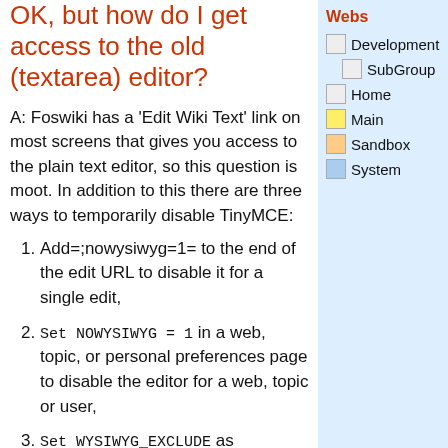OK, but how do I get access to the old (textarea) editor?
A: Foswiki has a 'Edit Wiki Text' link on most screens that gives you access to the plain text editor, so this question is moot. In addition to this there are three ways to temporarily disable TinyMCE:
Add=;nowysiwyg=1= to the end of the edit URL to disable it for a single edit,
Set NOWYSIWYG = 1 in a web, topic, or personal preferences page to disable the editor for a web, topic or user,
Set WYSIWYG_EXCLUDE as described in WysiwygPlugin to disable the editor subject to certain content (e.g.
Webs
Development
SubGroup
Home
Main
Sandbox
System